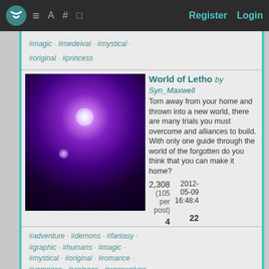Register  Login
#magic · #medeival · #mystical · #original · #princess
World of Letho by Syn_Maxwell — Torn away from your home and thrown into a new world, there are many trials you must overcome and alliances to build. With only one guide through the world of the forgotten do you think that you can make it home? | 2,308 (105 per post) | 2012-05-09 16:48:4 | 4 | 22
#adventure · #demons · #fantasy · #graphic · #humans · #magic · #mystical · #original · #romance · #vampires · #violence · #werewolves
Danger in Paradise by Allison_Marie — Gratidia, it's unlike any place you've ever seen. With cascading waterfalls, and towering mountains as far as the eye can see, it looks like the picture perfect world. Unfortunately, not everything is how it seems in this paradise. | 37,216 (160 per post) | 2011-08-24 04:17:32 | 8 | 232